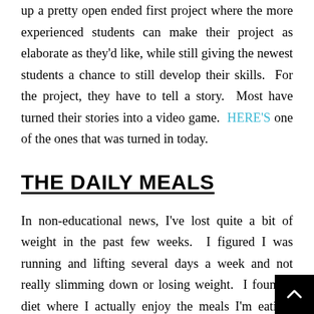up a pretty open ended first project where the more experienced students can make their project as elaborate as they'd like, while still giving the newest students a chance to still develop their skills.  For the project, they have to tell a story.  Most have turned their stories into a video game.  HERE'S one of the ones that was turned in today.
THE DAILY MEALS
In non-educational news, I've lost quite a bit of weight in the past few weeks.  I figured I was running and lifting several days a week and not really slimming down or losing weight.  I found a diet where I actually enjoy the meals I'm eating, plus I get a cheat day.  It's